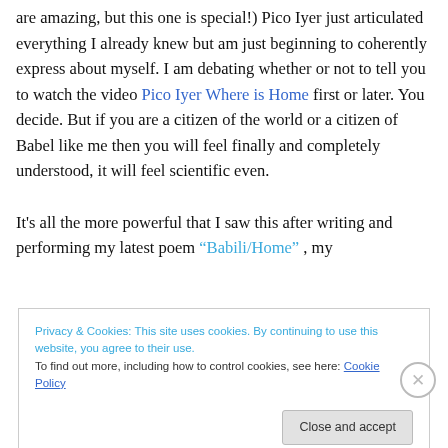are amazing, but this one is special!) Pico Iyer just articulated everything I already knew but am just beginning to coherently express about myself. I am debating whether or not to tell you to watch the video Pico Iyer Where is Home first or later. You decide. But if you are a citizen of the world or a citizen of Babel like me then you will feel finally and completely understood, it will feel scientific even.

It's all the more powerful that I saw this after writing and performing my latest poem “Babili/Home” , my
Privacy & Cookies: This site uses cookies. By continuing to use this website, you agree to their use.
To find out more, including how to control cookies, see here: Cookie Policy